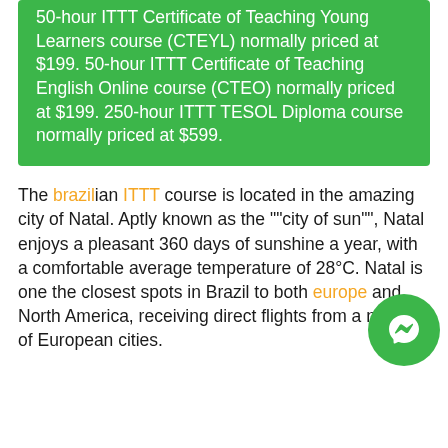50-hour ITTT Certificate of Teaching Young Learners course (CTEYL) normally priced at $199. 50-hour ITTT Certificate of Teaching English Online course (CTEO) normally priced at $199. 250-hour ITTT TESOL Diploma course normally priced at $599.
The brazilian ITTT course is located in the amazing city of Natal. Aptly known as the ""city of sun"", Natal enjoys a pleasant 360 days of sunshine a year, with a comfortable average temperature of 28°C. Natal is one the closest spots in Brazil to both europe and North America, receiving direct flights from a number of European cities.